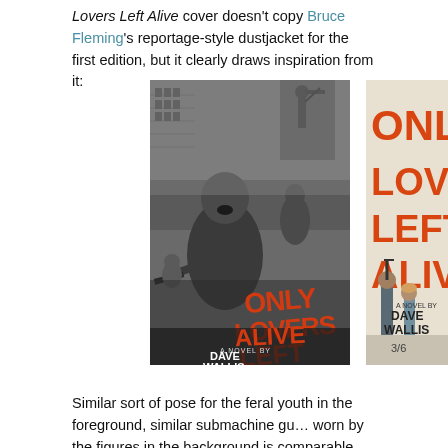Lovers Left Alive cover doesn't copy Bruce Fleming's reportage-style dustjacket for the first edition, but it clearly draws inspiration from it:
[Figure (photo): Left book cover: Only Lovers Left Alive, A Novel By Dave Wallis. Black and white photojournalism scene of youth rioting in a street, with bold red title text overlaid.]
[Figure (photo): Right book cover (partially cropped): Only Lovers Left Alive, A Novel By Dave Wallis. Shows figures with a gun, price marked 3/6, bold orange title text.]
Similar sort of pose for the feral youth in the foreground, similar submachine gu... worn by the figures in the background is comparable, too – not to mention the t...